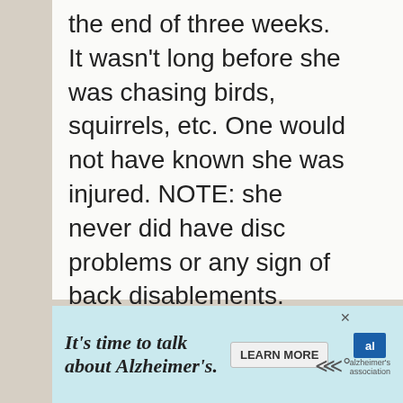the end of three weeks. It wasn't long before she was chasing birds, squirrels, etc. One would not have known she was injured. NOTE: she never did have disc problems or any sign of back disablements. Kendall ended up having another happy and healthy 17 years. She was family. Our community love her too.
Reply
[Figure (other): Advertisement banner: 'It's time to talk about Alzheimer's.' with a LEARN MORE button and the Alzheimer's association logo]